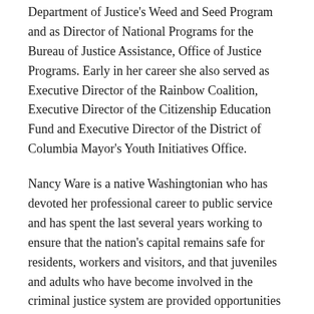Department of Justice's Weed and Seed Program and as Director of National Programs for the Bureau of Justice Assistance, Office of Justice Programs. Early in her career she also served as Executive Director of the Rainbow Coalition, Executive Director of the Citizenship Education Fund and Executive Director of the District of Columbia Mayor's Youth Initiatives Office.
Nancy Ware is a native Washingtonian who has devoted her professional career to public service and has spent the last several years working to ensure that the nation's capital remains safe for residents, workers and visitors, and that juveniles and adults who have become involved in the criminal justice system are provided opportunities to contribute and thrive.
Ms. Ware holds a Bachelor's and Master's degree from Howard University.